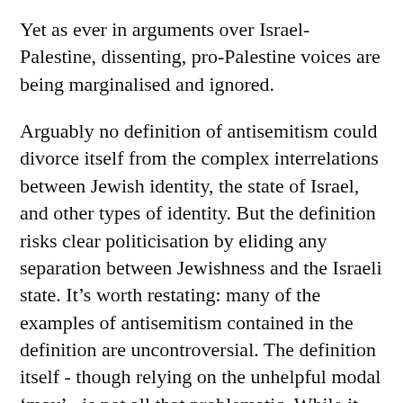Yet as ever in arguments over Israel-Palestine, dissenting, pro-Palestine voices are being marginalised and ignored.
Arguably no definition of antisemitism could divorce itself from the complex interrelations between Jewish identity, the state of Israel, and other types of identity. But the definition risks clear politicisation by eliding any separation between Jewishness and the Israeli state. It’s worth restating: many of the examples of antisemitism contained in the definition are uncontroversial. The definition itself - though relying on the unhelpful modal ‘may’ - is not all that problematic. While it focuses on expressions of hatred, it is clearly an attempt to not preclude subtler, pernicious expressions of antisemitism. The examples though raise serious concerns.